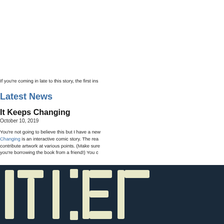If you're coming in late to this story, the first ins
Latest News
It Keeps Changing
October 10, 2019
You're not going to believe this but I have a ne Changing is an interactive comic story. The rea contribute artwork at various points. (Make sure you're borrowing the book from a friend!) You c
[Figure (photo): Book cover or title image showing 'IT KE' text in large cream/white letters on a dark navy background]